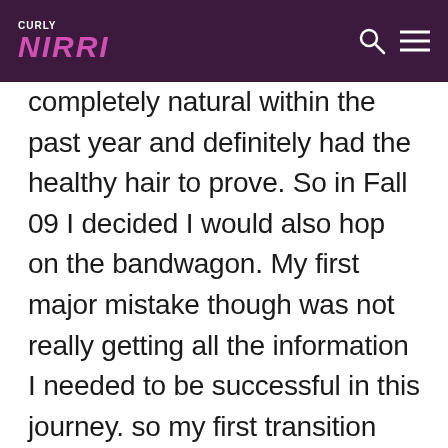CURLY NIKKI
completely natural within the past year and definitely had the healthy hair to prove. So in Fall 09 I decided I would also hop on the bandwagon. My first major mistake though was not really getting all the information I needed to be successful in this journey. so my first transition ended in getting another relaxer after 4 months : ( Second major mistake… making a decision about my hair because of frustration). Immediately after relaxing my hair, I regretted my decision and had to remind myself that sometimes the best things in life